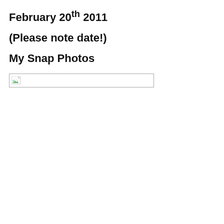February 20th 2011
(Please note date!)
My Snap Photos
[Figure (photo): Broken image placeholder — a small image box with a broken image icon in the top-left corner, outlined with a light border]